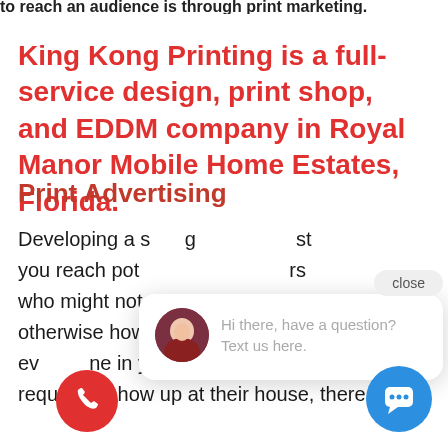to reach an audience is through print marketing.
King Kong Printing is a full-service design, print shop, and EDDM company in Royal Manor Mobile Home Estates, Florida.
Print Advertising
Developing a strong print marketing list you reach potential customers who might not otherwise however if you wish to get in front of everyone in your area or perhaps state you require to show up at their house, there is no
[Figure (screenshot): Chat popup widget with close button, avatar of a woman, and text 'Hi there, have a question? Text us here.']
[Figure (illustration): Red circular phone call button]
[Figure (illustration): Blue circular chat/message button]